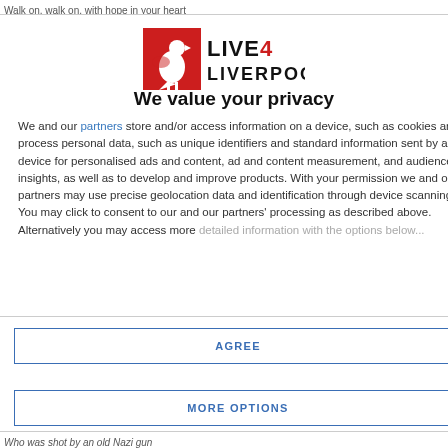Walk on, walk on, with hope in your heart
[Figure (logo): Live4Liverpool logo — red square with white liver bird and black text LIVE4 LIVERPOOL]
We value your privacy
We and our partners store and/or access information on a device, such as cookies and process personal data, such as unique identifiers and standard information sent by a device for personalised ads and content, ad and content measurement, and audience insights, as well as to develop and improve products. With your permission we and our partners may use precise geolocation data and identification through device scanning. You may click to consent to our and our partners' processing as described above. Alternatively you may access more detailed information...
AGREE
MORE OPTIONS
Who was shot by an old Nazi gun